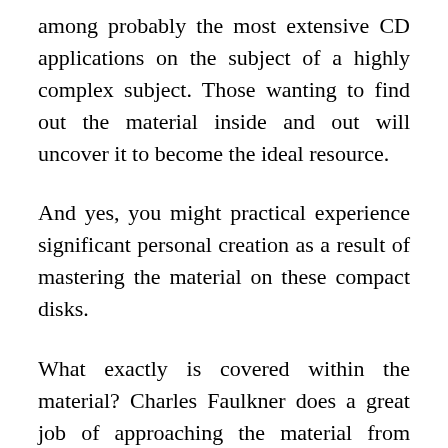among probably the most extensive CD applications on the subject of a highly complex subject. Those wanting to find out the material inside and out will uncover it to become the ideal resource.
And yes, you might practical experience significant personal creation as a result of mastering the material on these compact disks.
What exactly is covered within the material? Charles Faulkner does a great job of approaching the material from several distinct perspectives. This allows you to get a greater recognition of how NLP permits you to